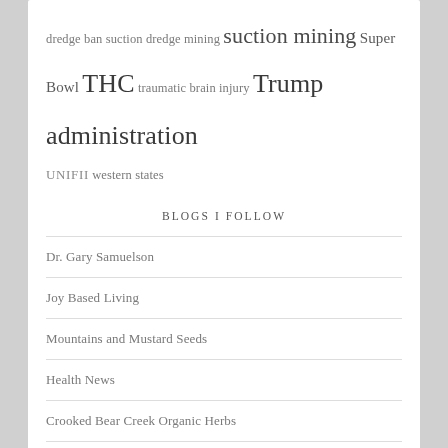dredge ban suction dredge mining suction mining Super Bowl THC traumatic brain injury Trump administration UNIFII western states
BLOGS I FOLLOW
Dr. Gary Samuelson
Joy Based Living
Mountains and Mustard Seeds
Health News
Crooked Bear Creek Organic Herbs